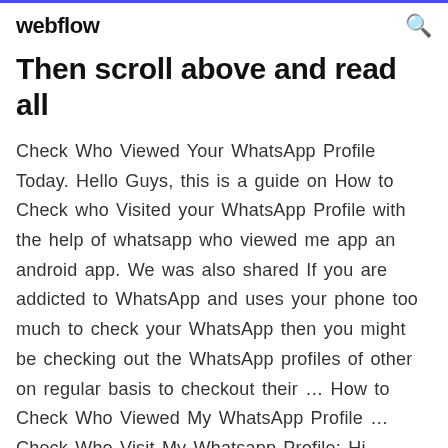webflow
Then scroll above and read all
Check Who Viewed Your WhatsApp Profile Today. Hello Guys, this is a guide on How to Check who Visited your WhatsApp Profile with the help of whatsapp who viewed me app an android app. We was also shared If you are addicted to WhatsApp and uses your phone too much to check your WhatsApp then you might be checking out the WhatsApp profiles of other on regular basis to checkout their … How to Check Who Viewed My WhatsApp Profile … Check Who Visit My Whatsapp Profile; Hi friends, In this lesson we learn “how to check who visit my whatsapp profile” in easy way for